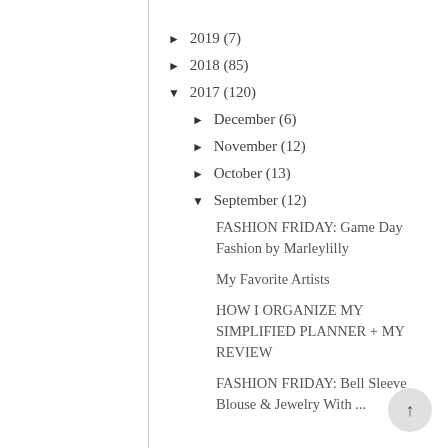► 2019 (7)
► 2018 (85)
▼ 2017 (120)
► December (6)
► November (12)
► October (13)
▼ September (12)
FASHION FRIDAY: Game Day Fashion by Marleylilly
My Favorite Artists
HOW I ORGANIZE MY SIMPLIFIED PLANNER + MY REVIEW
FASHION FRIDAY: Bell Sleeve Blouse & Jewelry With ...